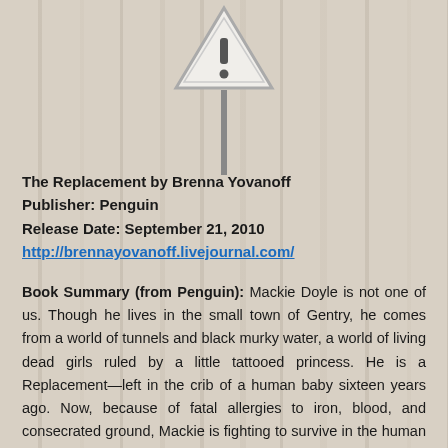[Figure (illustration): A road warning triangle sign with an exclamation mark, mounted on a post, centered at the top of the page over a wood-grain background.]
The Replacement by Brenna Yovanoff
Publisher: Penguin
Release Date: September 21, 2010
http://brennayovanoff.livejournal.com/
Book Summary (from Penguin): Mackie Doyle is not one of us. Though he lives in the small town of Gentry, he comes from a world of tunnels and black murky water, a world of living dead girls ruled by a little tattooed princess. He is a Replacement—left in the crib of a human baby sixteen years ago. Now, because of fatal allergies to iron, blood, and consecrated ground, Mackie is fighting to survive in the human world.